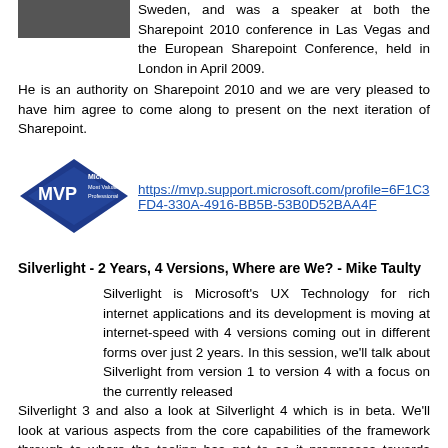[Figure (photo): Portrait photo of a person, partially visible at top left]
Sweden, and was a speaker at both the Sharepoint 2010 conference in Las Vegas and the European Sharepoint Conference, held in London in April 2009.  He is an authority on Sharepoint 2010 and we are very pleased to have him agree to come along to present on the next iteration of Sharepoint.
[Figure (logo): Microsoft MVP - Most Valuable Professional diamond logo]
https://mvp.support.microsoft.com/profile=6F1C3FD4-330A-4916-BB5B-53B0D52BAA4F
Silverlight - 2 Years, 4 Versions, Where are We? - Mike Taulty
Silverlight is Microsoft's UX Technology for rich internet applications and its development is moving at internet-speed with 4 versions coming out in different forms over just 2 years.  In this session, we'll talk about Silverlight from version 1 to version 4 with a focus on the currently released Silverlight 3 and also a look at Silverlight 4 which is in beta.  We'll look at various aspects from the core capabilities of the framework through to where the tooling has got to as it progresses towards Visual Studio 2010.